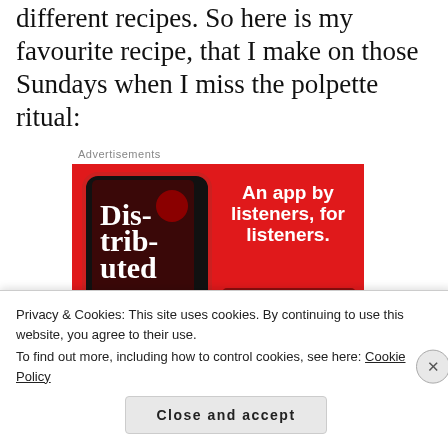different recipes. So here is my favourite recipe, that I make on those Sundays when I miss the polpette ritual:
Advertisements
[Figure (screenshot): Advertisement banner with red background showing a smartphone displaying a podcast app called 'Dis-trib-uted'. Text reads 'An app by listeners, for listeners.' with a 'Download now' button.]
Privacy & Cookies: This site uses cookies. By continuing to use this website, you agree to their use.
To find out more, including how to control cookies, see here: Cookie Policy
Close and accept